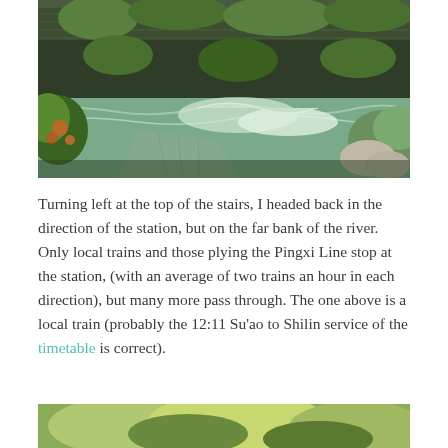[Figure (photo): Aerial/elevated view of a river with rapids and white water flowing past a retaining wall, surrounded by green trees and vegetation. A tiled structure or ramp is visible near the water. Lush green plants and orange-red flowering shrubs in the foreground.]
Turning left at the top of the stairs, I headed back in the direction of the station, but on the far bank of the river. Only local trains and those plying the Pingxi Line stop at the station, (with an average of two trains an hour in each direction), but many more pass through. The one above is a local train (probably the 12:11 Su'ao to Shilin service of the timetable is correct).
[Figure (photo): Partial view of dense green tree canopy, yellow-green foliage visible at bottom of page.]